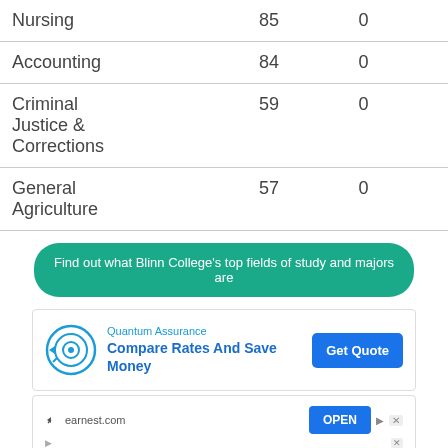| Nursing | 85 | 0 |
| Accounting | 84 | 0 |
| Criminal Justice & Corrections | 59 | 0 |
| General Agriculture | 57 | 0 |
Find out what Blinn College's top fields of study and majors are
[Figure (infographic): Advertisement for Quantum Assurance: Compare Rates And Save Money with Get Quote button]
[Figure (infographic): Advertisement for Sport Management Graduate Program from gardner-webb.edu: Earn your MSM in as little as 10 Months with No Prerequisites Required. No GMAT Required. Learn More button.]